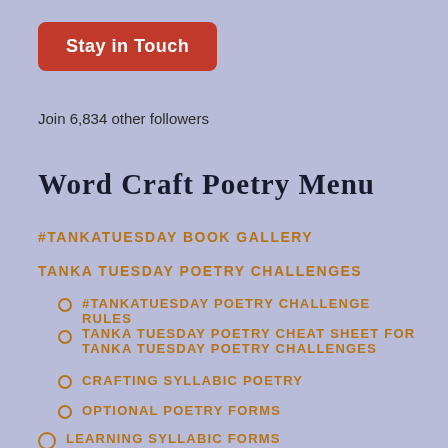[Figure (other): Red rounded rectangle button with white bold text 'Stay in Touch']
Join 6,834 other followers
Word Craft Poetry Menu
#TANKATUESDAY BOOK GALLERY
TANKA TUESDAY POETRY CHALLENGES
#TANKATUESDAY POETRY CHALLENGE RULES
TANKA TUESDAY POETRY CHEAT SHEET FOR TANKA TUESDAY POETRY CHALLENGES
CRAFTING SYLLABIC POETRY
OPTIONAL POETRY FORMS
LEARNING SYLLABIC FORMS
NEW SYLLABIC FORMS